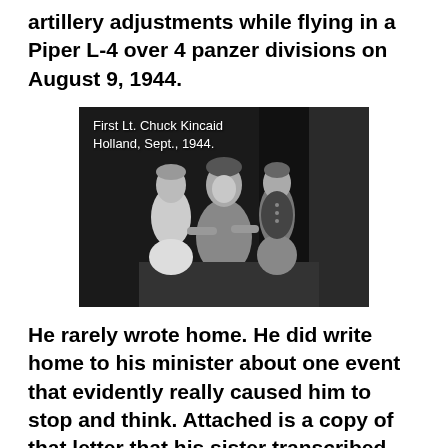artillery adjustments while flying in a Piper L-4 over 4 panzer divisions on August 9, 1944.
[Figure (photo): Black and white photograph of First Lt. Chuck Kincaid posing with two young girls in Holland, September 1944. Caption text overlaid on the photo reads: 'First Lt. Chuck Kincaid Holland, Sept., 1944.']
He rarely wrote home. He did write home to his minister about one event that evidently really caused him to stop and think. Attached is a copy of that letter that his sister transcribed – making copies for others to read. The letter describes the Farsleben train and